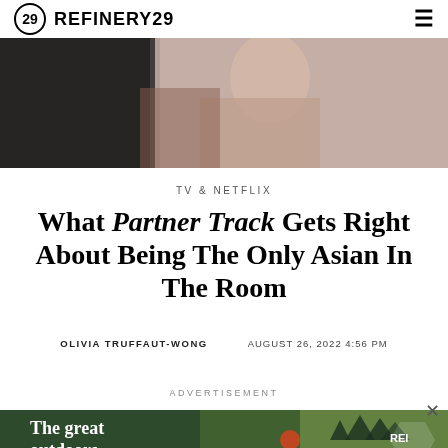REFINERY29
[Figure (photo): A close-up photo of two people, partially visible, with muted warm tones — appears to be a romantic or intimate scene from a TV show]
TV & NETFLIX
What Partner Track Gets Right About Being The Only Asian In The Room
OLIVIA TRUFFAUT-WONG   AUGUST 26, 2022 4:56 PM
ADVERTISEMENT
[Figure (photo): REI advertisement banner showing a cyclist outdoors with text 'The great outdoors' and REI Co-op logo]